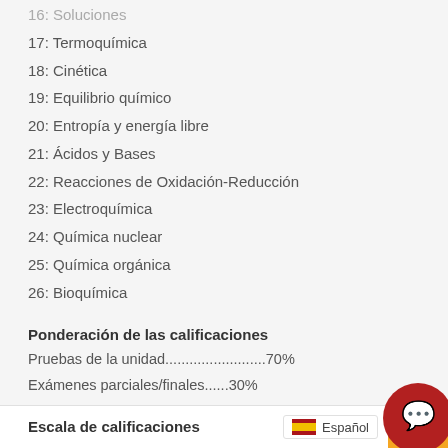16: Soluciones
17: Termoquímica
18: Cinética
19: Equilibrio químico
20: Entropía y energía libre
21: Ácidos y Bases
22: Reacciones de Oxidación-Reducción
23: Electroquímica
24: Química nuclear
25: Química orgánica
26: Bioquímica
Ponderación de las calificaciones
Pruebas de la unidad.........................70%
Exámenes parciales/finales......30%
Total......................................100%
Escala de calificaciones